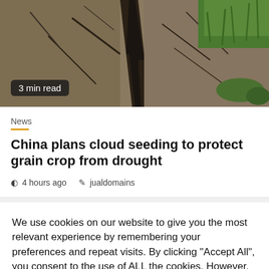[Figure (photo): Cracked dry earth with sparse green grass, drought conditions visible]
3 min read
News
China plans cloud seeding to protect grain crop from drought
4 hours ago  jualdomains
We use cookies on our website to give you the most relevant experience by remembering your preferences and repeat visits. By clicking "Accept All", you consent to the use of ALL the cookies. However, you may visit "Cookie Settings" to provide a controlled consent.